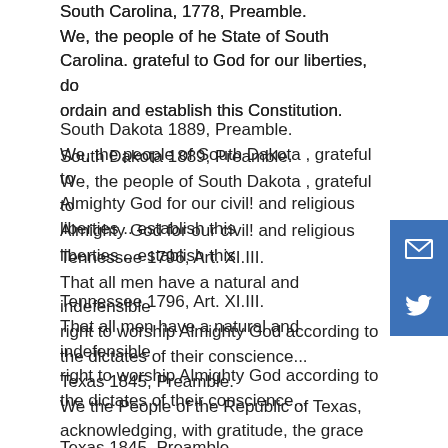South Carolina, 1778, Preamble.
We, the people of he State of South Carolina. grateful to God for our liberties, do ordain and establish this Constitution.
South Dakota 1889, Preamble.
We, the people of South Dakota , grateful to Almighty God for our civil! and religious liberties .. establish this
Tennessee 1796, Art. XI.III.
That all men have a natural and indefensible right to worship Almighty God according to the dictates of their conscience...
Texas 1845, Preamble.
We the People of the Republic of Texas, acknowledging, with gratitude, the grace and beneficence of God.